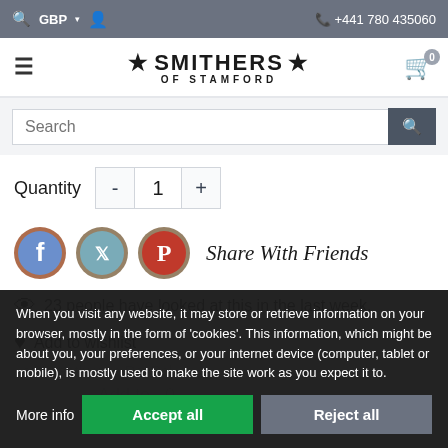🔍 GBP ▾ 👤   📞 +441 780 435060
[Figure (logo): Smithers of Stamford logo with stars and hamburger menu]
Search
Quantity - 1 +
[Figure (illustration): Facebook, Twitter, Pinterest social share icons with 'Share With Friends' text]
23 people have looked at this in the last week.
Add to wishlist
When you visit any website, it may store or retrieve information on your browser, mostly in the form of 'cookies'. This information, which might be about you, your preferences, or your internet device (computer, tablet or mobile), is mostly used to make the site work as you expect it to.
More info   Accept all   Reject all